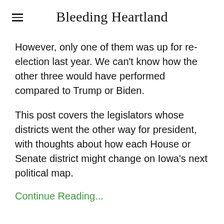Bleeding Heartland
However, only one of them was up for re-election last year. We can't know how the other three would have performed compared to Trump or Biden.
This post covers the legislators whose districts went the other way for president, with thoughts about how each House or Senate district might change on Iowa's next political map.
Continue Reading...